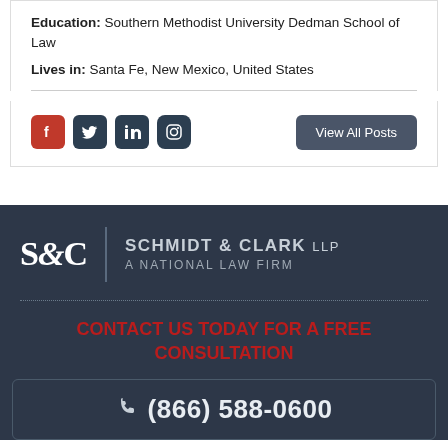Education: Southern Methodist University Dedman School of Law
Lives in: Santa Fe, New Mexico, United States
[Figure (other): Social media icons: Facebook, Twitter, LinkedIn, Instagram and a 'View All Posts' button]
[Figure (logo): Schmidt & Clark LLP - A National Law Firm logo with S&C monogram]
CONTACT US TODAY FOR A FREE CONSULTATION
(866) 588-0600